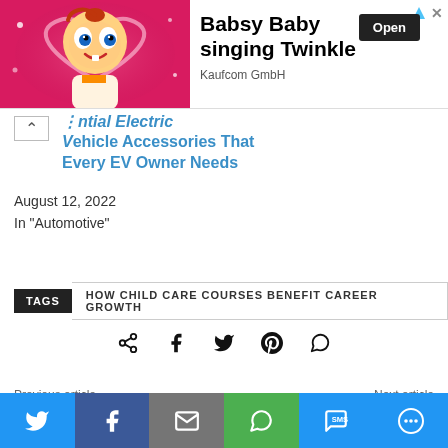[Figure (screenshot): Ad banner: Babsy Baby singing Twinkle by Kaufcom GmbH with Open button]
Essential Electric Vehicle Accessories That Every EV Owner Needs
August 12, 2022
In "Automotive"
TAGS   HOW CHILD CARE COURSES BENEFIT CAREER GROWTH
[Figure (infographic): Social share icons row: share, facebook, twitter, pinterest, whatsapp]
Previous article   Next article
[Figure (infographic): Bottom social sharing bar: Twitter, Facebook, Email, WhatsApp, SMS, More]